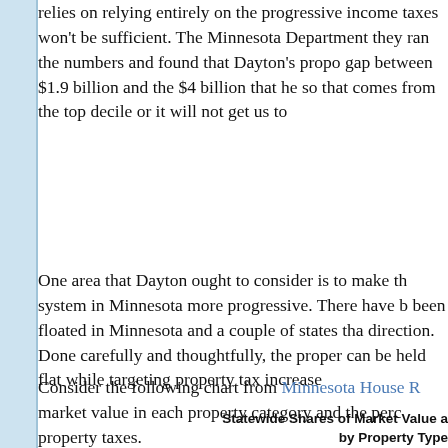relies on relying entirely on the progressive income taxes won't be sufficient. The Minnesota Department they ran the numbers and found that Dayton's propo gap between $1.9 billion and the $4 billion that he so that comes from the top decile or it will not get us to
One area that Dayton ought to consider is to make the system in Minnesota more progressive. There have been floated in Minnesota and a couple of states that direction. Done carefully and thoughtfully, the property can be held flat while targeting property tax increases
Consider the following chart from Minnesota House R market value in each property category and the percentage property taxes.
Statewide Shares of Market Value and by Property Type (Taxes Payable 2008